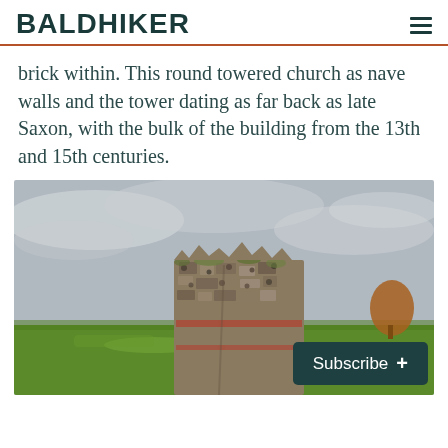BALDHIKER
brick within. This round towered church as nave walls and the tower dating as far back as late Saxon, with the bulk of the building from the 13th and 15th centuries.
[Figure (photo): A crumbling ancient stone and brick ruin standing in an open green field under a cloudy grey sky, with a tree visible in the background. A Subscribe button overlay appears in the bottom right corner.]